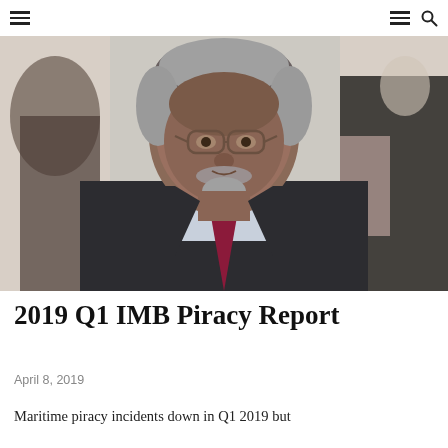☰  ☰ 🔍
[Figure (photo): Portrait photo of an older South Asian man wearing glasses, a dark suit jacket, blue striped shirt, and dark red/maroon tie. Other people are visible in the background.]
2019 Q1 IMB Piracy Report
April 8, 2019
Maritime piracy incidents down in Q1 2019 but